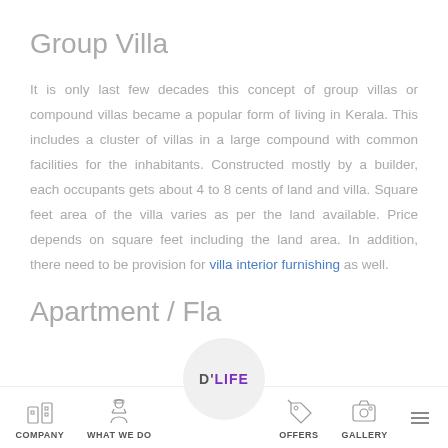Group Villa
It is only last few decades this concept of group villas or compound villas became a popular form of living in Kerala. This includes a cluster of villas in a large compound with common facilities for the inhabitants. Constructed mostly by a builder, each occupants gets about 4 to 8 cents of land and villa. Square feet area of the villa varies as per the land available. Price depends on square feet including the land area. In addition, there need to be provision for villa interior furnishing as well.
Apartment / Fla
[Figure (logo): D'LIFE circular logo with grey background, text D'LIFE in purple and grey]
COMPANY  WHAT WE DO  [D'LIFE logo]  OFFERS  GALLERY  [hamburger menu]